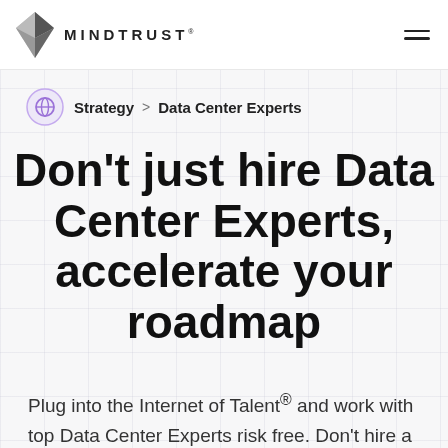MINDTRUST
Strategy > Data Center Experts
Don't just hire Data Center Experts, accelerate your roadmap
Plug into the Internet of Talent® and work with top Data Center Experts risk free. Don't hire a freelance